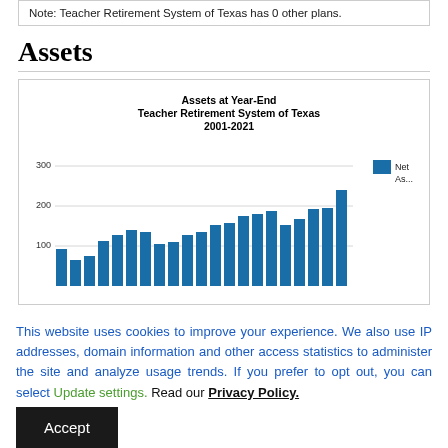Note: Teacher Retirement System of Texas has 0 other plans.
Assets
[Figure (bar-chart): Assets at Year-End Teacher Retirement System of Texas 2001-2021]
This website uses cookies to improve your experience. We also use IP addresses, domain information and other access statistics to administer the site and analyze usage trends. If you prefer to opt out, you can select Update settings. Read our Privacy Policy.